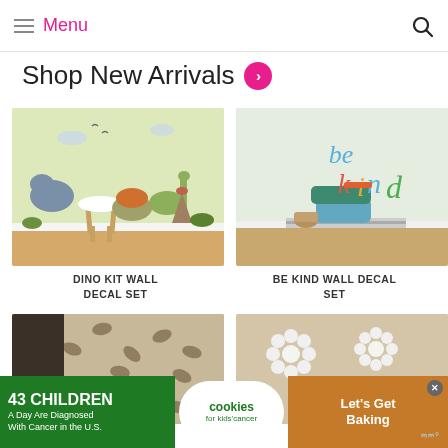Menu
Shop New Arrivals >
[Figure (photo): Room with dinosaur wall decals including T-Rex, triceratops, brachiosaurus and other colorful dinosaurs on a pale yellow-green wall with a white stool in foreground]
DINO KIT WALL DECAL SET
[Figure (photo): Room corner with colorful 'be kind' wall decal in rainbow lettering, with stacked blue and green cushions on a striped rug]
BE KIND WALL DECAL SET
[Figure (photo): Brown leaf/botanical pattern wallpaper with dark square inset]
[Figure (photo): Beige wall with large white daisy flower decals]
[Figure (infographic): Advertisement: 43 Children A Day Are Diagnosed With Cancer in the U.S. - Cookies for Kids Cancer - Let's Get Baking]